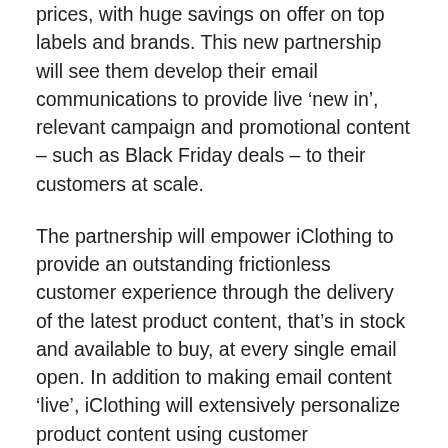prices, with huge savings on offer on top labels and brands. This new partnership will see them develop their email communications to provide live ‘new in’, relevant campaign and promotional content – such as Black Friday deals – to their customers at scale.
The partnership will empower iClothing to provide an outstanding frictionless customer experience through the delivery of the latest product content, that’s in stock and available to buy, at every single email open. In addition to making email content ‘live’, iClothing will extensively personalize product content using customer preferences – moving from a